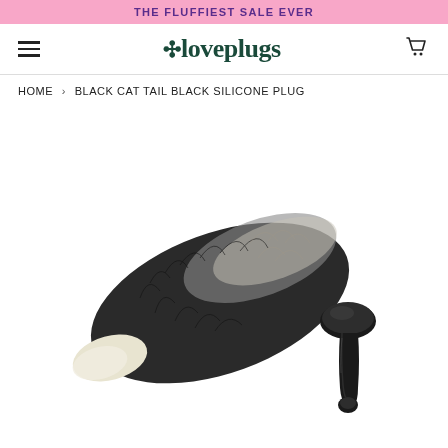THE FLUFFIEST SALE EVER
[Figure (logo): iloveplugs logo with heart icon and shopping cart]
HOME › BLACK CAT TAIL BLACK SILICONE PLUG
[Figure (photo): Product photo of a black cat tail butt plug with fluffy black and cream fur tail attached to a black silicone plug]